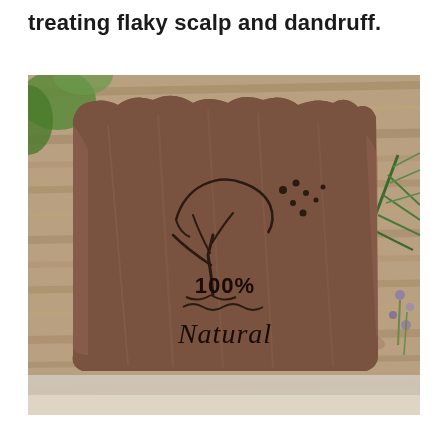treating flaky scalp and dandruff.
[Figure (photo): A dark brown handmade natural soap bar with a rustic, uneven top edge, embossed with a tree logo and the text '100% Natural'. The soap rests on a weathered wooden surface with pine needles and a small plant visible on the right side.]